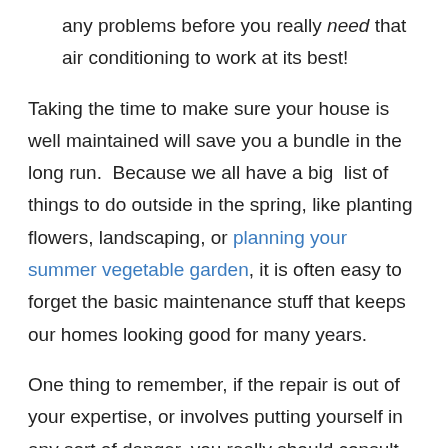any problems before you really need that air conditioning to work at its best!
Taking the time to make sure your house is well maintained will save you a bundle in the long run.  Because we all have a big  list of things to do outside in the spring, like planting flowers, landscaping, or planning your summer vegetable garden, it is often easy to forget the basic maintenance stuff that keeps our homes looking good for many years.
One thing to remember, if the repair is out of your expertise, or involves putting yourself in any sort of danger, you really should consult with a professional service provider for the type of repair or maintenance you need.  Fixing things right is far cheaper than having someone fix your mistakes, and weeks in the hospital because you fell off your roof means